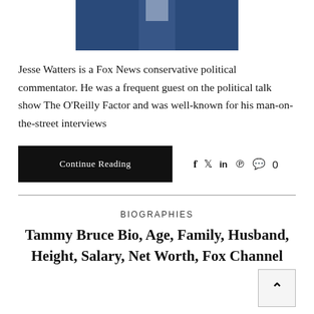[Figure (photo): Photo of Jesse Watters in a blue suit with tie, cropped at top of page]
Jesse Watters is a Fox News conservative political commentator. He was a frequent guest on the political talk show The O'Reilly Factor and was well-known for his man-on-the-street interviews
Continue Reading
BIOGRAPHIES
Tammy Bruce Bio, Age, Family, Husband, Height, Salary, Net Worth, Fox Channel